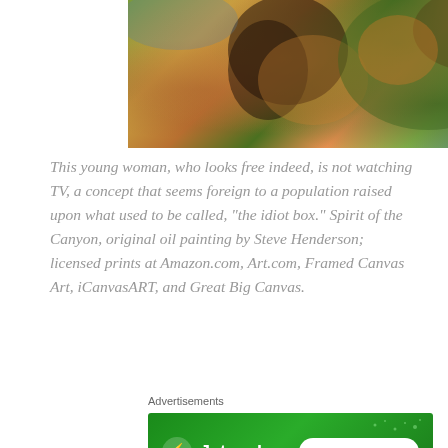[Figure (illustration): Oil painting of a young woman outdoors, with impressionistic foliage in autumn colors. Signed by Steve Henderson in lower right.]
This young woman, who looks free indeed, is not watching TV, a concept that seems foreign to a population raised upon what used to be called, "the idiot box." Spirit of the Canyon, original oil painting by Steve Henderson; licensed prints at Amazon.com, Art.com, Framed Canvas Art, iCanvasART, and Great Big Canvas.
Advertisements
[Figure (other): Jetpack advertisement banner: green background with Jetpack logo and 'Back up your site' button.]
REPORT THIS AD
When a person's major source of news is Facebook or
Advertisements
[Figure (other): WordPress advertisement: 'Build a writing habit. Post on the go.' with GET THE APP button and WordPress logo.]
REPORT THIS AD